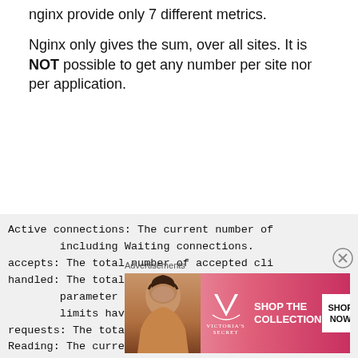nginx provide only 7 different metrics.
Nginx only gives the sum, over all sites. It is NOT possible to get any number per site nor per application.
Active connections: The current number of including Waiting connections.
accepts: The total number of accepted cli
handled: The total number of handled conn
    parameter value is the same as accept
    limits have been reached (for example
requests: The total number of client requ
Reading: The current number of connection
    request header.
Advertisements
[Figure (photo): Victoria's Secret advertisement banner with a model, VS logo, 'SHOP THE COLLECTION' text, and 'SHOP NOW' button]